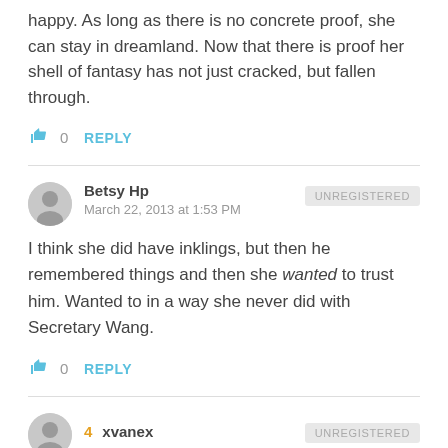happy. As long as there is no concrete proof, she can stay in dreamland. Now that there is proof her shell of fantasy has not just cracked, but fallen through.
👍 0  REPLY
Betsy Hp
March 22, 2013 at 1:53 PM
UNREGISTERED
I think she did have inklings, but then he remembered things and then she wanted to trust him. Wanted to in a way she never did with Secretary Wang.
👍 0  REPLY
4  xvanex
UNREGISTERED